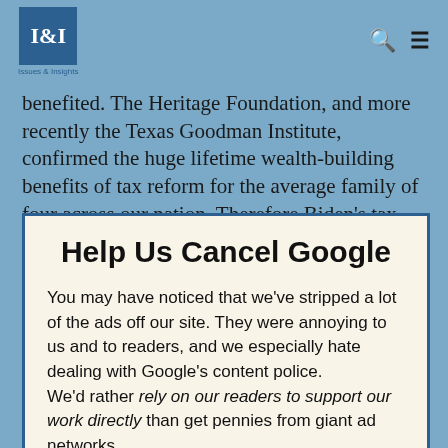Issues & Insights
benefited. The Heritage Foundation, and more recently the Texas Goodman Institute, confirmed the huge lifetime wealth-building benefits of tax reform for the average family of four across our nation. Therefore Biden's tax reform repeal would hurt the very middle-class workers and families nationwide
Help Us Cancel Google
You may have noticed that we've stripped a lot of the ads off our site. They were annoying to us and to readers, and we especially hate dealing with Google's content police.
We'd rather rely on our readers to support our work directly than get pennies from giant ad networks.
We won't charge you to access our content, but you can help us keep this site going with a donation.